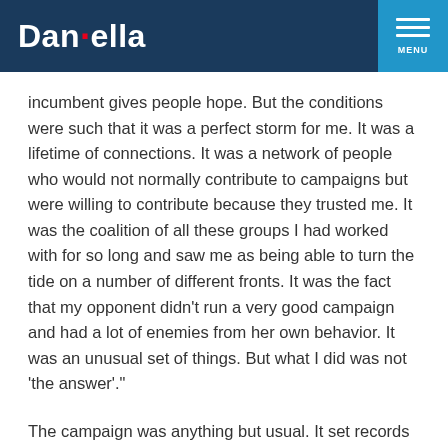Danielella | MENU
incumbent gives people hope. But the conditions were such that it was a perfect storm for me. It was a lifetime of connections. It was a network of people who would not normally contribute to campaigns but were willing to contribute because they trusted me. It was the coalition of all these groups I had worked with for so long and saw me as being able to turn the tide on a number of different fronts. It was the fact that my opponent didn't run a very good campaign and had a lot of enemies from her own behavior. It was an unusual set of things. But what I did was not 'the answer'."
The campaign was anything but usual. It set records for fundraising and spending in a county commission race — Bell raised nearly a million